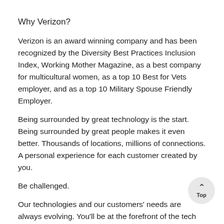Why Verizon?
Verizon is an award winning company and has been recognized by the Diversity Best Practices Inclusion Index, Working Mother Magazine, as a best company for multicultural women, as a top 10 Best for Vets employer, and as a top 10 Military Spouse Friendly Employer.
Being surrounded by great technology is the start. Being surrounded by great people makes it even better. Thousands of locations, millions of connections. A personal experience for each customer created by you.
Be challenged.
Our technologies and our customers' needs are always evolving. You'll be at the forefront of the tech world's latest trends.
After you apply...
You may be required to take an assessment. It takes about 20 minutes to complete. If you're selected to move forward,